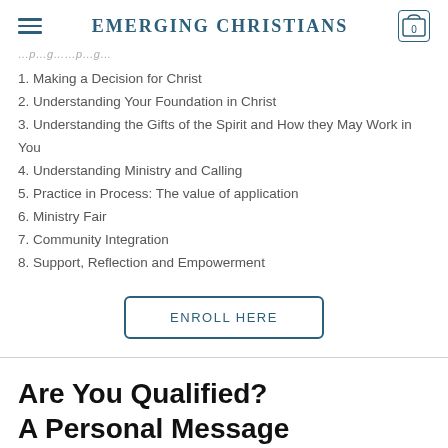EMERGING CHRISTIANS
…p…g…p…g…
1. Making a Decision for Christ
2. Understanding Your Foundation in Christ
3. Understanding the Gifts of the Spirit and How they May Work in You
4. Understanding Ministry and Calling
5. Practice in Process: The value of application
6. Ministry Fair
7. Community Integration
8. Support, Reflection and Empowerment
ENROLL HERE
Are You Qualified? A Personal Message